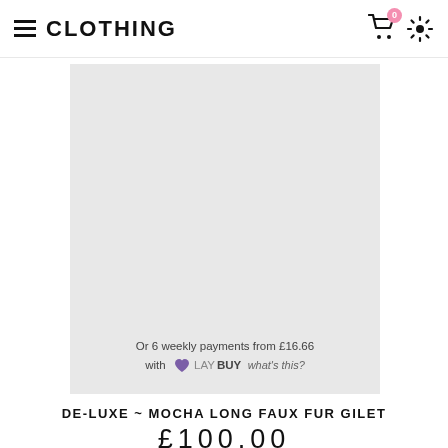CLOTHING
[Figure (photo): Product image area - light grey background placeholder for clothing item. Contains Laybuy payment text overlay at bottom.]
Or 6 weekly payments from £16.66 with LAYBUY what's this?
DE-LUXE ~ MOCHA LONG FAUX FUR GILET
£100.00
ADD TO CART